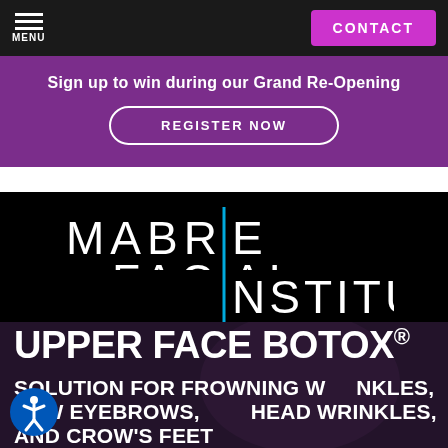MENU | CONTACT
Sign up to win during our Grand Re-Opening
REGISTER NOW
[Figure (logo): Mabrie Facial Institute logo — white and cyan text on black background]
UPPER FACE BOTOX®
SOLUTION FOR FROWNING WRINKLES, LOW EYEBROWS, FOREHEAD WRINKLES, AND CROW'S FEET